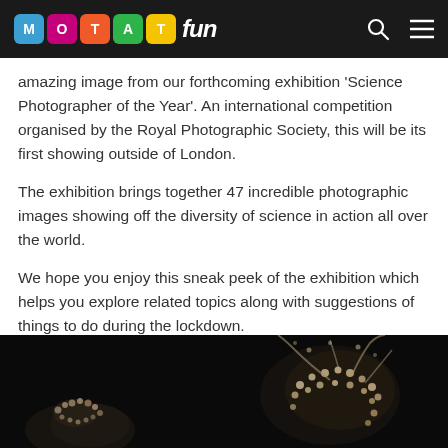MOTAT fun
amazing image from our forthcoming exhibition 'Science Photographer of the Year'. An international competition organised by the Royal Photographic Society, this will be its first showing outside of London.
The exhibition brings together 47 incredible photographic images showing off the diversity of science in action all over the world.
We hope you enjoy this sneak peek of the exhibition which helps you explore related topics along with suggestions of things to do during the lockdown.
[Figure (photo): Dark background photograph showing jellyfish-like or sea creature specimens with beaded/crystalline structures visible against black background]